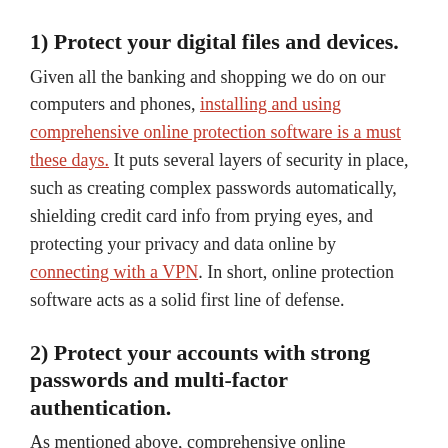1) Protect your digital files and devices.
Given all the banking and shopping we do on our computers and phones, installing and using comprehensive online protection software is a must these days. It puts several layers of security in place, such as creating complex passwords automatically, shielding credit card info from prying eyes, and protecting your privacy and data online by connecting with a VPN. In short, online protection software acts as a solid first line of defense.
2) Protect your accounts with strong passwords and multi-factor authentication.
As mentioned above, comprehensive online protection software often includes a password manager that can generate strong, unique passwords for each of your accounts and remember them for you. It's extra